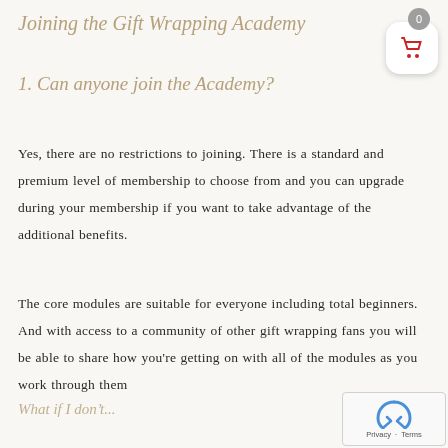Joining the Gift Wrapping Academy
1. Can anyone join the Academy?
Yes, there are no restrictions to joining. There is a standard and premium level of membership to choose from and you can upgrade during your membership if you want to take advantage of the additional benefits.
The core modules are suitable for everyone including total beginners. And with access to a community of other gift wrapping fans you will be able to share how you're getting on with all of the modules as you work through them
What if I don't...